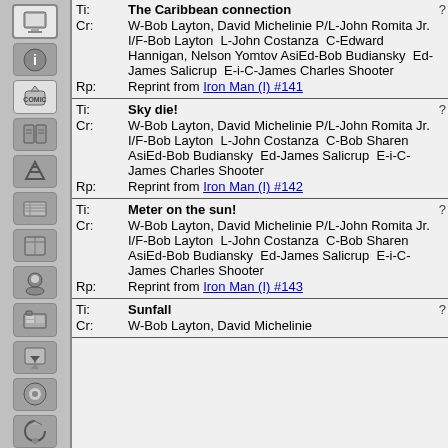Ti: The Caribbean connection Cr: W-Bob Layton, David Michelinie P/L-John Romita Jr. I/F-Bob Layton L-John Costanza C-Edward Hannigan, Nelson Yomtov AsiEd-Bob Budiansky Ed-James Salicrup E-i-C-James Charles Shooter Rp: Reprint from Iron Man (I) #141
Ti: Sky die! Cr: W-Bob Layton, David Michelinie P/L-John Romita Jr. I/F-Bob Layton L-John Costanza C-Bob Sharen AsiEd-Bob Budiansky Ed-James Salicrup E-i-C-James Charles Shooter Rp: Reprint from Iron Man (I) #142
Ti: Meter on the sun! Cr: W-Bob Layton, David Michelinie P/L-John Romita Jr. I/F-Bob Layton L-John Costanza C-Bob Sharen AsiEd-Bob Budiansky Ed-James Salicrup E-i-C-James Charles Shooter Rp: Reprint from Iron Man (I) #143
Ti: Sunfall Cr: W-Bob Layton, David Michelinie